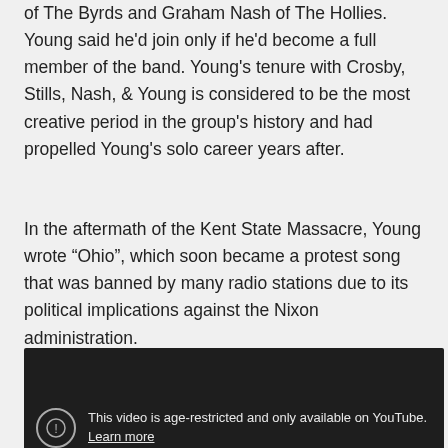of The Byrds and Graham Nash of The Hollies. Young said he'd join only if he'd become a full member of the band. Young's tenure with Crosby, Stills, Nash, & Young is considered to be the most creative period in the group's history and had propelled Young's solo career years after.
In the aftermath of the Kent State Massacre, Young wrote "Ohio", which soon became a protest song that was banned by many radio stations due to its political implications against the Nixon administration.
[Figure (screenshot): Embedded YouTube video player showing age-restriction notice: 'This video is age-restricted and only available on YouTube. Learn more' with a warning icon.]